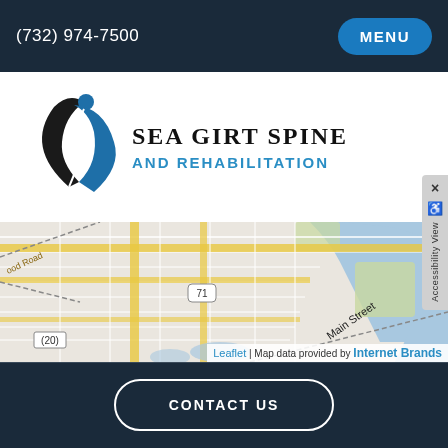(732) 974-7500  MENU
[Figure (logo): Sea Girt Spine and Rehabilitation logo — black swoosh figure with blue circle head, next to brand name text]
[Figure (map): Leaflet street map showing road network around Sea Girt NJ area, with route 71 and 20 visible, Main Street labeled, water bodies visible. Map data provided by Internet Brands.]
Leaflet | Map data provided by Internet Brands
CONTACT US